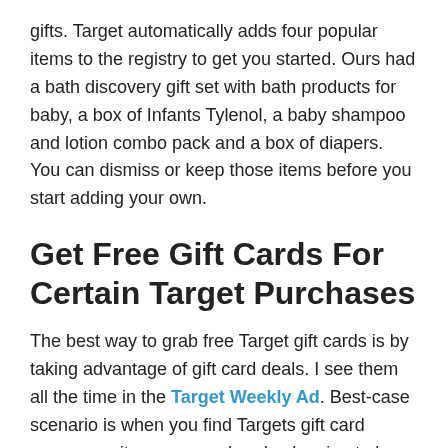gifts. Target automatically adds four popular items to the registry to get you started. Ours had a bath discovery gift set with bath products for baby, a box of Infants Tylenol, a baby shampoo and lotion combo pack and a box of diapers. You can dismiss or keep those items before you start adding your own.
Get Free Gift Cards For Certain Target Purchases
The best way to grab free Target gift cards is by taking advantage of gift card deals. I see them all the time in the Target Weekly Ad. Best-case scenario is when you find Targets gift card promos on items youre already planning to buy.